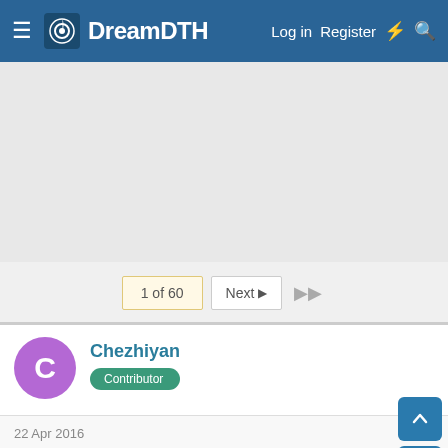DreamDTH — Log in  Register
[Figure (screenshot): Advertisement banner area (gray placeholder)]
1 of 60  Next  ▶▶
Chezhiyan  Contributor
22 Apr 2016  #1
Hi Friends

This Is The Thread Which Is Completely Devoted For General Discussion Of All TV Serials And Programs From Local Regional